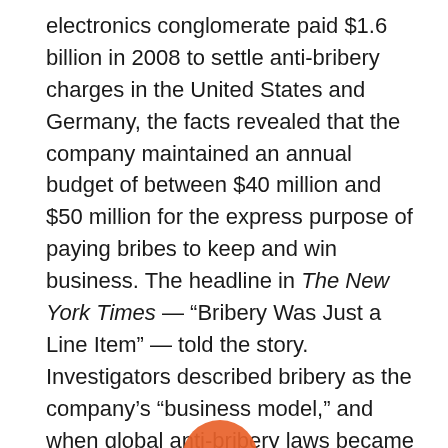electronics conglomerate paid $1.6 billion in 2008 to settle anti-bribery charges in the United States and Germany, the facts revealed that the company maintained an annual budget of between $40 million and $50 million for the express purpose of paying bribes to keep and win business. The headline in The New York Times — “Bribery Was Just a Line Item” — told the story. Investigators described bribery as the company’s “business model,” and when global anti-bribery laws became stricter, the organization created a “paper [anti-fraud] program” to cover its continuing illegal practices.
In this